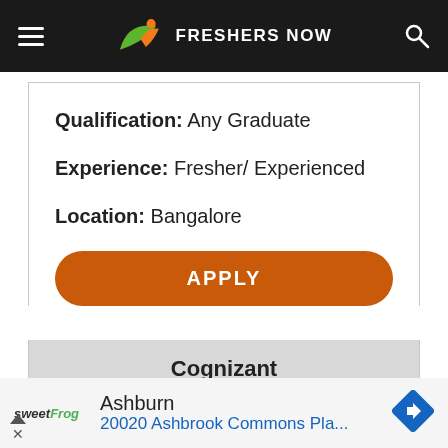FRESHERS NOW
Qualification: Any Graduate
Experience: Fresher/ Experienced
Location: Bangalore
APPLY
Cognizant
Ashburn
20020 Ashbrook Commons Pla...